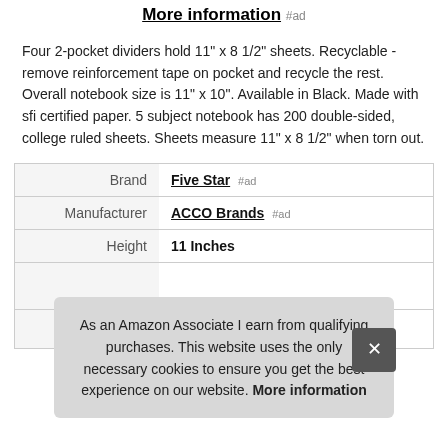More information #ad
Four 2-pocket dividers hold 11" x 8 1/2" sheets. Recyclable - remove reinforcement tape on pocket and recycle the rest. Overall notebook size is 11" x 10". Available in Black. Made with sfi certified paper. 5 subject notebook has 200 double-sided, college ruled sheets. Sheets measure 11" x 8 1/2" when torn out.
|  |  |
| --- | --- |
| Brand | Five Star #ad |
| Manufacturer | ACCO Brands #ad |
| Height | 11 Inches |
As an Amazon Associate I earn from qualifying purchases. This website uses the only necessary cookies to ensure you get the best experience on our website. More information